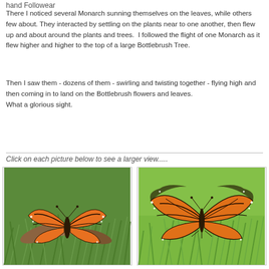hand Followear
There I noticed several Monarch sunning themselves on the leaves, while others few about. They interacted by settling on the plants near to one another, then flew up and about around the plants and trees.  I followed the flight of one Monarch as it flew higher and higher to the top of a large Bottlebrush Tree.
Then I saw them - dozens of them - swirling and twisting together - flying high and then coming in to land on the Bottlebrush flowers and leaves.
What a glorious sight.
Click on each picture below to see a larger view.....
[Figure (photo): Monarch butterfly resting on green grass with brown leaves]
[Figure (photo): Monarch butterfly with wings spread open on green grass]